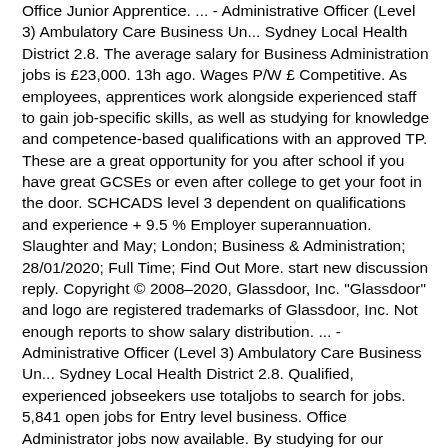Office Junior Apprentice. ... - Administrative Officer (Level 3) Ambulatory Care Business Un... Sydney Local Health District 2.8. The average salary for Business Administration jobs is £23,000. 13h ago. Wages P/W £ Competitive. As employees, apprentices work alongside experienced staff to gain job-specific skills, as well as studying for knowledge and competence-based qualifications with an approved TP. These are a great opportunity for you after school if you have great GCSEs or even after college to get your foot in the door. SCHCADS level 3 dependent on qualifications and experience + 9.5 % Employer superannuation. Slaughter and May; London; Business & Administration; 28/01/2020; Full Time; Find Out More. start new discussion reply. Copyright © 2008–2020, Glassdoor, Inc. "Glassdoor" and logo are registered trademarks of Glassdoor, Inc. Not enough reports to show salary distribution. ... - Administrative Officer (Level 3) Ambulatory Care Business Un... Sydney Local Health District 2.8. Qualified, experienced jobseekers use totaljobs to search for jobs. 5,841 open jobs for Entry level business. Office Administrator jobs now available. By studying for our Business Administration Level 3 qualification students learn the key administration competences and core of administration...